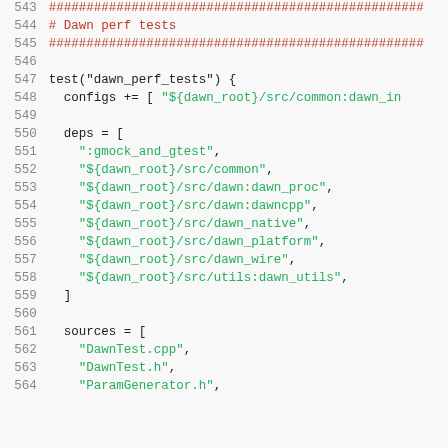Code listing lines 543-564, Dawn perf tests build configuration in GN build format. Contains test(), configs, deps, and sources definitions.